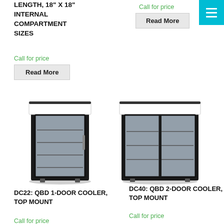LENGTH, 18" X 18" INTERNAL COMPARTMENT SIZES
Call for price
Read More
Call for price
Read More
[Figure (photo): DC22: QBD 1-Door Cooler, Top Mount refrigerator unit - black cabinet with glass door and white top sign panel]
[Figure (photo): DC40: QBD 2-Door Cooler, Top Mount refrigerator unit - black cabinet with two sliding glass doors and white top sign panel]
DC22: QBD 1-DOOR COOLER, TOP MOUNT
DC40: QBD 2-DOOR COOLER, TOP MOUNT
Call for price
Call for price